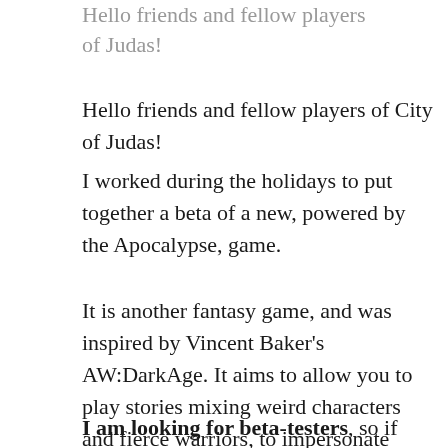Hello friends and fellow players of City of Judas!
Hello friends and fellow players of City of Judas!
I worked during the holidays to put together a beta of a new, powered by the Apocalypse, game.
It is another fantasy game, and was inspired by Vincent Baker's AW:DarkAge. It aims to allow you to play stories mixing weird characters and fierce warriors, to impersonate nobles or adventurers, to seek glory or revenge in a remote northern land.
I am looking for beta-testers, so if you are